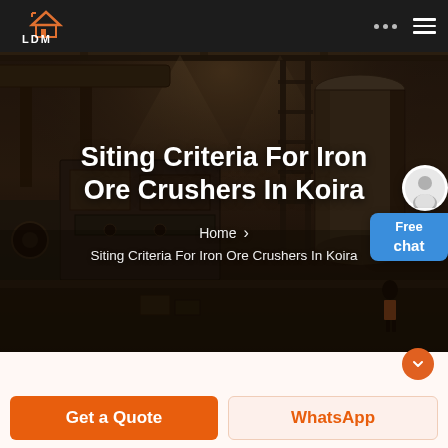LDM
[Figure (photo): Industrial factory interior with heavy machinery, crushers, conveyor systems, and metal structures in a dark workshop environment]
Siting Criteria For Iron Ore Crushers In Koira
Home > Siting Criteria For Iron Ore Crushers In Koira
Get a Quote
WhatsApp